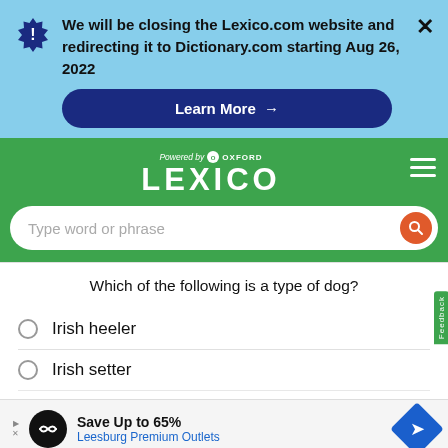We will be closing the Lexico.com website and redirecting it to Dictionary.com starting Aug 26, 2022
Learn More →
[Figure (logo): Lexico logo powered by Oxford]
Type word or phrase
Which of the following is a type of dog?
Irish heeler
Irish setter
Save Up to 65% Leesburg Premium Outlets